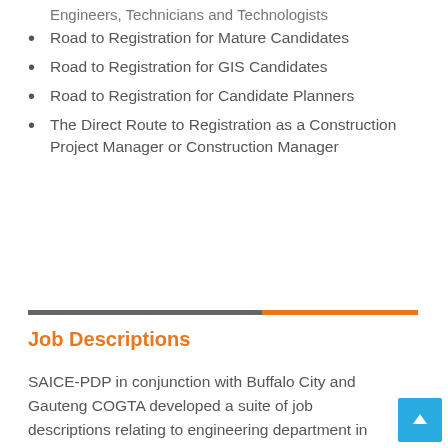Engineers, Technicians and Technologists
Road to Registration for Mature Candidates
Road to Registration for GIS Candidates
Road to Registration for Candidate Planners
The Direct Route to Registration as a Construction Project Manager or Construction Manager
Job Descriptions
SAICE-PDP in conjunction with Buffalo City and Gauteng COGTA developed a suite of job descriptions relating to engineering department in municipalities in ~2010 in response to the